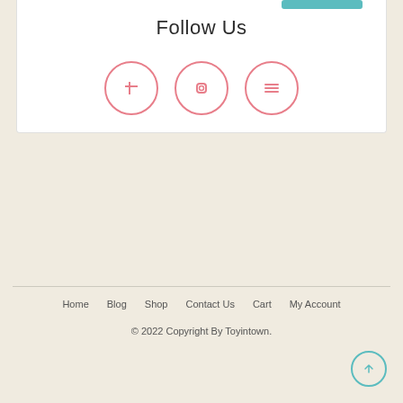Follow Us
[Figure (illustration): Three pink-outlined circular social media icon buttons side by side]
Home   Blog   Shop   Contact Us   Cart   My Account
© 2022 Copyright By Toyintown.